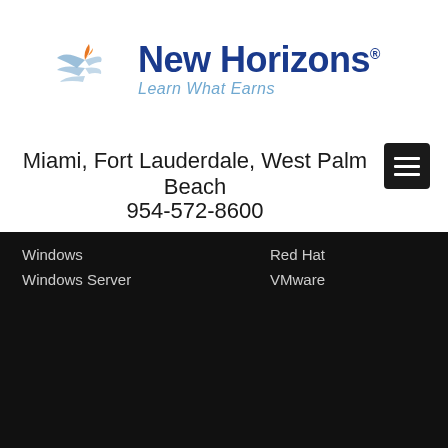[Figure (logo): New Horizons logo with bird/wing icon, company name in dark blue, tagline 'Learn What Earns' in light blue italic]
Miami, Fort Lauderdale, West Palm Beach
954-572-8600
Windows
Windows Server
Red Hat
VMware
Business
Business Analysis
Professional Skills
Project Management
Salesforce